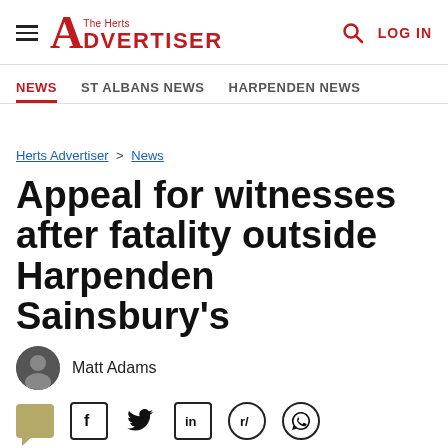The Herts Advertiser — LOG IN
NEWS | ST ALBANS NEWS | HARPENDEN NEWS
Herts Advertiser > News
Appeal for witnesses after fatality outside Harpenden Sainsbury's
Matt Adams
[Figure (infographic): Social sharing icons row: comment, Facebook, Twitter, LinkedIn, Reddit, WhatsApp]